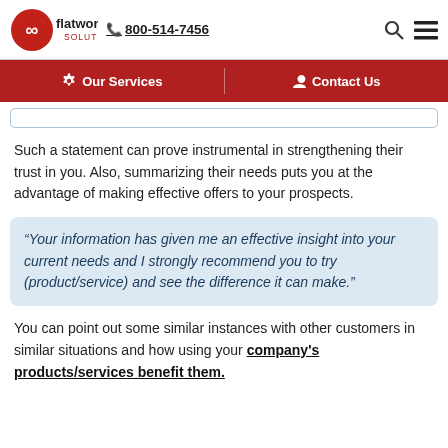flatworld solutions | 800-514-7456
Our Services | Contact Us
Such a statement can prove instrumental in strengthening their trust in you. Also, summarizing their needs puts you at the advantage of making effective offers to your prospects.
“Your information has given me an effective insight into your current needs and I strongly recommend you to try (product/service) and see the difference it can make.”
You can point out some similar instances with other customers in similar situations and how using your company’s products/services benefit them.